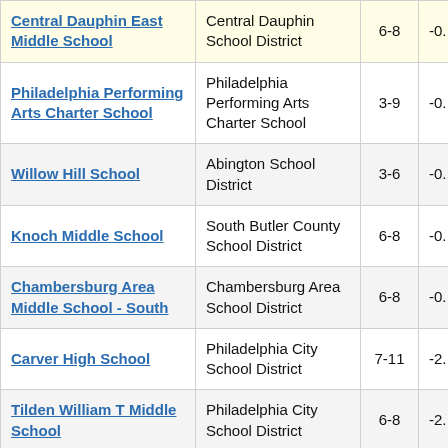| School | District | Grades | Score |
| --- | --- | --- | --- |
| Central Dauphin East Middle School | Central Dauphin School District | 6-8 | -0. |
| Philadelphia Performing Arts Charter School | Philadelphia Performing Arts Charter School | 3-9 | -0. |
| Willow Hill School | Abington School District | 3-6 | -0. |
| Knoch Middle School | South Butler County School District | 6-8 | -0. |
| Chambersburg Area Middle School - South | Chambersburg Area School District | 6-8 | -0. |
| Carver High School | Philadelphia City School District | 7-11 | -2. |
| Tilden William T Middle School | Philadelphia City School District | 6-8 | -2. |
| South Scranton | Scranton School |  |  |